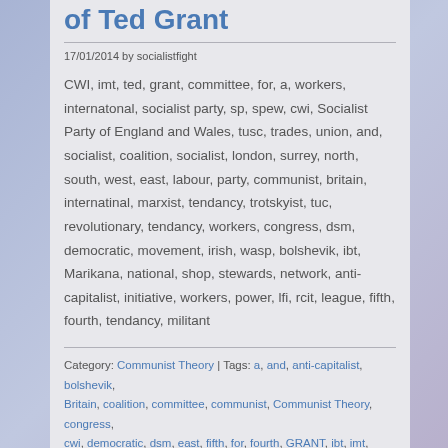of Ted Grant
17/01/2014 by socialistfight
CWI, imt, ted, grant, committee, for, a, workers, internatonal, socialist party, sp, spew, cwi, Socialist Party of England and Wales, tusc, trades, union, and, socialist, coalition, socialist, london, surrey, north, south, west, east, labour, party, communist, britain, internatinal, marxist, tendancy, trotskyist, tuc, revolutionary, tendancy, workers, congress, dsm, democratic, movement, irish, wasp, bolshevik, ibt, Marikana, national, shop, stewards, network, anti-capitalist, initiative, workers, power, lfi, rcit, league, fifth, fourth, tendancy, militant
Category: Communist Theory | Tags: a, and, anti-capitalist, bolshevik, Britain, coalition, committee, communist, Communist Theory, congress, cwi, democratic, dsm, east, fifth, for, fourth, GRANT, ibt, imt, initiative, internatinal, internatonal, irish, labour, league, lfi, london, marikana,